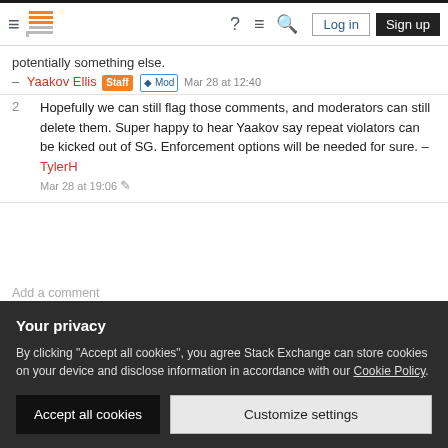Stack Exchange navigation bar with hamburger menu, logo, help, chat, search icons, Log in and Sign up buttons
potentially something else. – Yaakov Ellis [Staff] [Mod] Mar 28 at 12:40
2  Hopefully we can still flag those comments, and moderators can still delete them. Super happy to hear Yaakov say repeat violators can be kicked out of SG. Enforcement options will be needed for sure. – TylerH  Mar 28 at 19:06
Add a comment
On the "qualifications" required for reviewers, maybe there is here an opportunity to experiment
Your privacy
By clicking "Accept all cookies", you agree Stack Exchange can store cookies on your device and disclose information in accordance with our Cookie Policy.
Accept all cookies  Customize settings
based system, why not use previous curation